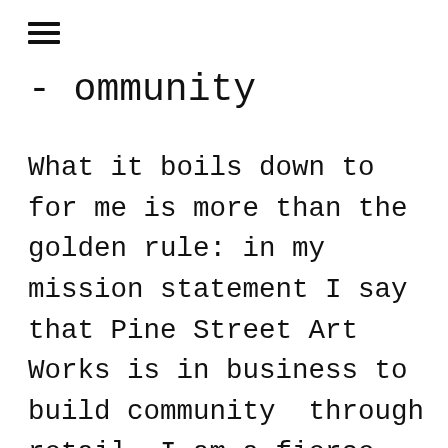≡
- ommunity
What it boils down to for me is more than the golden rule: in my mission statement I say that Pine Street Art Works is in business to build community  through retail. I am a fierce advocate for local neighborhood community building, but,  in addition, in this cyber age, neighborhood can be anywhere and everywhere. We build it one email,